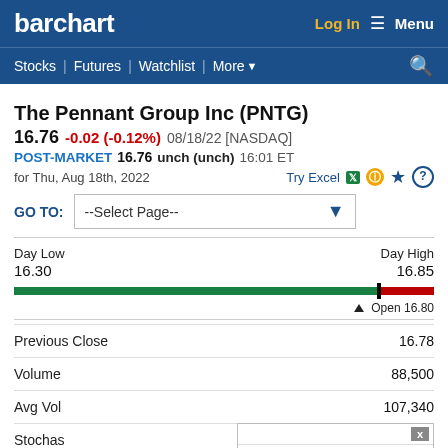barchart | Log In | Menu | Stocks | Futures | Watchlist | More
The Pennant Group Inc (PNTG)
16.76 -0.02 (-0.12%) 08/18/22 [NASDAQ]
POST-MARKET 16.76 unch (unch) 16:01 ET
for Thu, Aug 18th, 2022
GO TO: --Select Page--
Day Low 16.30  Day High 16.85  Open 16.80
| Metric | Value |
| --- | --- |
| Previous Close | 16.78 |
| Volume | 88,500 |
| Avg Vol | 107,340 |
| Stochas | 77.78% |
| Weighte | -38.50 |
| 5-Day Change | 16.83 (+0.30%) |